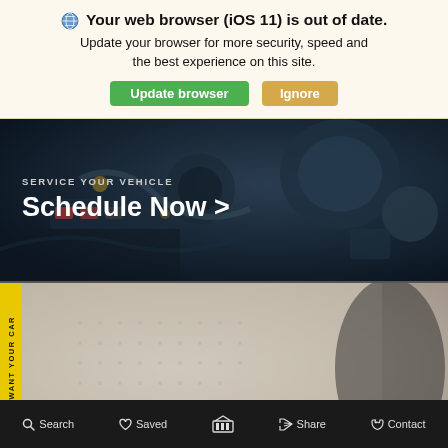🌐 Your web browser (iOS 11) is out of date. Update your browser for more security, speed and the best experience on this site.
Update browser | Ignore
[Figure (screenshot): Dark automotive engine bay close-up photo used as hero background image]
SERVICE YOUR VEHICLE
Schedule Now >
[Figure (photo): Close-up of white perforated leather car seat interior]
WE WANT YOUR CAR
Search | Saved | [home icon] | Share | Contact